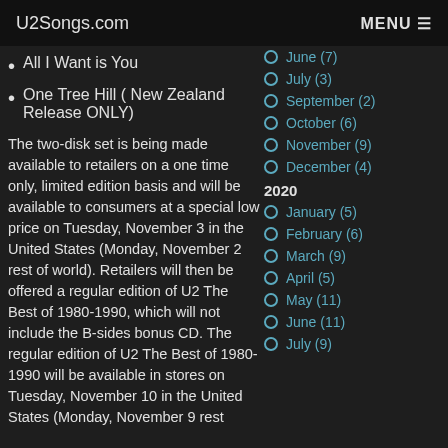U2Songs.com | MENU
All I Want is You
One Tree Hill ( New Zealand Release ONLY)
The two-disk set is being made available to retailers on a one time only, limited edition basis and will be available to consumers at a special low price on Tuesday, November 3 in the United States (Monday, November 2 rest of world). Retailers will then be offered a regular edition of U2 The Best of 1980-1990, which will not include the B-sides bonus CD. The regular edition of U2 The Best of 1980-1990 will be available in stores on Tuesday, November 10 in the United States (Monday, November 9 rest
June (7)
July (3)
September (2)
October (6)
November (9)
December (4)
2020
January (5)
February (6)
March (9)
April (5)
May (11)
June (11)
July (9)